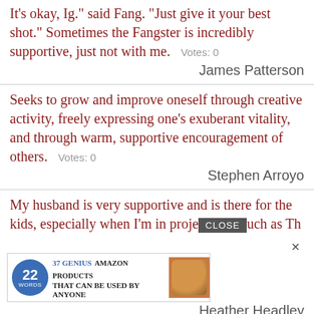It's okay, Ig." said Fang. "Just give it your best shot." Sometimes the Fangster is incredibly supportive, just not with me.   Votes: 0
James Patterson
Seeks to grow and improve oneself through creative activity, freely expressing one's exuberant vitality, and through warm, supportive encouragement of others.   Votes: 0
Stephen Arroyo
My husband is very supportive and is there for the kids, especially when I'm in projects such as Th...
Heather Headley
While Republican voters have remained